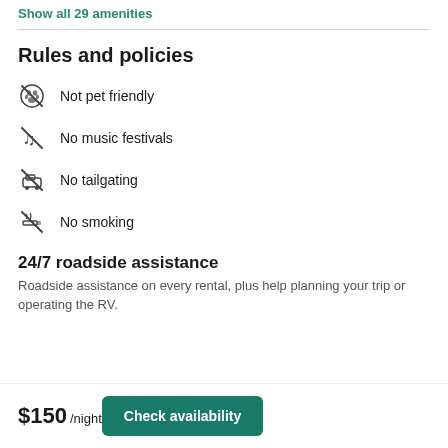Show all 29 amenities
Rules and policies
Not pet friendly
No music festivals
No tailgating
No smoking
24/7 roadside assistance
Roadside assistance on every rental, plus help planning your trip or operating the RV.
$150 /night
Check availability